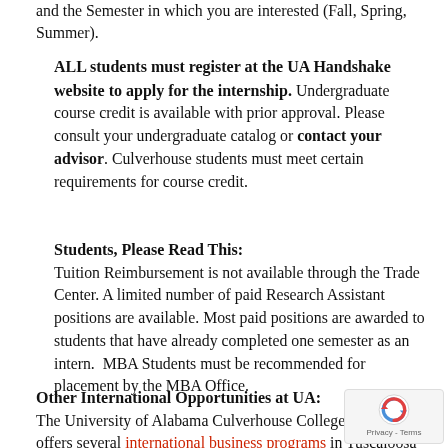and the Semester in which you are interested (Fall, Spring, Summer).
ALL students must register at the UA Handshake website to apply for the internship. Undergraduate course credit is available with prior approval. Please consult your undergraduate catalog or contact your advisor. Culverhouse students must meet certain requirements for course credit.
Students, Please Read This:
Tuition Reimbursement is not available through the Trade Center. A limited number of paid Research Assistant positions are available. Most paid positions are awarded to students that have already completed one semester as an intern.  MBA Students must be recommended for placement by the MBA Office.
Other International Opportunities at UA:
The University of Alabama Culverhouse College of Business offers several international business programs in Tuscaloosa and abroad. UA's Capstone International Center